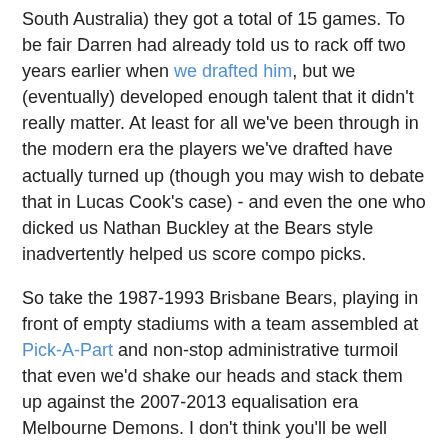South Australia) they got a total of 15 games. To be fair Darren had already told us to rack off two years earlier when we drafted him, but we (eventually) developed enough talent that it didn't really matter. At least for all we've been through in the modern era the players we've drafted have actually turned up (though you may wish to debate that in Lucas Cook's case) - and even the one who dicked us Nathan Buckley at the Bears style inadvertently helped us score compo picks.
So take the 1987-1993 Brisbane Bears, playing in front of empty stadiums with a team assembled at Pick-A-Part and non-stop administrative turmoil that even we'd shake our heads and stack them up against the 2007-2013 equalisation era Melbourne Demons. I don't think you'll be well pleased at the result.
In that time the Bears 'enjoyed' a record of 36-1-115. They were going so well off-field that at one point in 1992 they had 56 players on their list and other than their measly, often late, football earnings 35 of them were unemployed. Last night's loss on our return to Carrara left a Melbourne team who